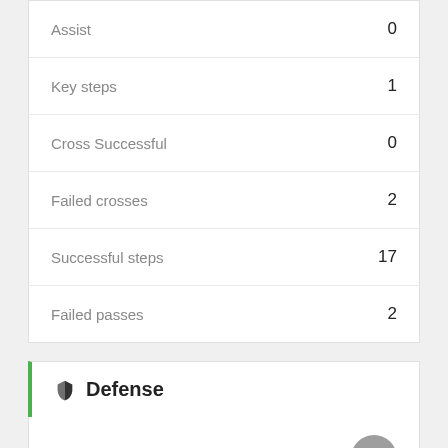| Stat | Value |
| --- | --- |
| Assist | 0 |
| Key steps | 1 |
| Cross Successful | 0 |
| Failed crosses | 2 |
| Successful steps | 17 |
| Failed passes | 2 |
Defense
| Stat | Value |
| --- | --- |
| Won contrasts | 1 |